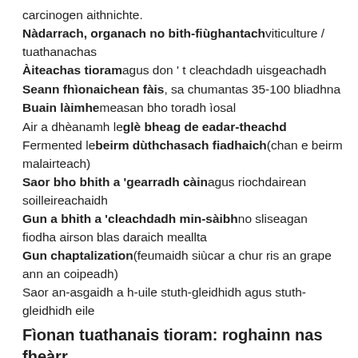carcinogen aithnichte.
Nàdarrach, organach no bith-fiùghantach viticulture / tuathanachas
Àiteachas tioram agus don ' t cleachdadh uisgeachadh
Seann fhìonaichean fàis, sa chumantas 35-100 bliadhna
Buain làimhe measan bho toradh ìosal
Air a dhèanamh le glè bheag de eadar-theachd
Fermented le beirm dùthchasach fiadhaich (chan e beirm malairteach)
Saor bho bhith a 'gearradh càin agus riochdairean soilleireachaidh
Gun a bhith a 'cleachdadh min-sàibh no sliseagan fiodha airson blas daraich meallta
Gun chaptalization (feumaidh siùcar a chur ris an grape ann an coipeadh)
Saor an-asgaidh a h-uile stuth-gleidhidh agus stuth-gleidhidh eile
Fìonan tuathanais tioram: roghainn nas fheàrr